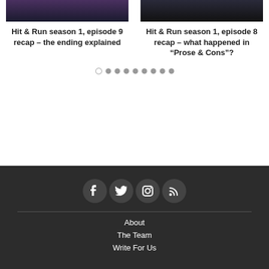[Figure (photo): Dark-toned thumbnail image for Hit & Run season 1, episode 9 recap article]
[Figure (photo): Dark-toned thumbnail image for Hit & Run season 1, episode 8 recap article]
Hit & Run season 1, episode 9 recap – the ending explained
Hit & Run season 1, episode 8 recap – what happened in “Prose & Cons”?
Pagination dots: 1 outline dot followed by 8 filled dots
About | The Team | Write For Us